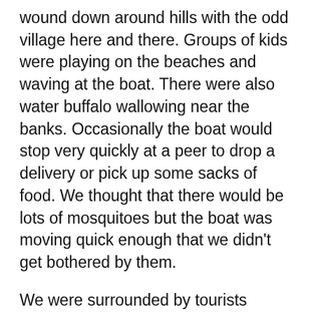wound down around hills with the odd village here and there. Groups of kids were playing on the beaches and waving at the boat. There were also water buffalo wallowing near the banks. Occasionally the boat would stop very quickly at a peer to drop a delivery or pick up some sacks of food. We thought that there would be lots of mosquitoes but the boat was moving quick enough that we didn't get bothered by them.
We were surrounded by tourists mainly and a few locals. Behind us was a very loud American guy called Spencer, who was a large and vocal fellow. His Americaness was unfortunate as sometimes it made him sound like a complete idiot but he was actually pretty intelligent. He was with a few mates from a tour group who had seemed to have booked a rush around trip of south east Asia. Once they got on the